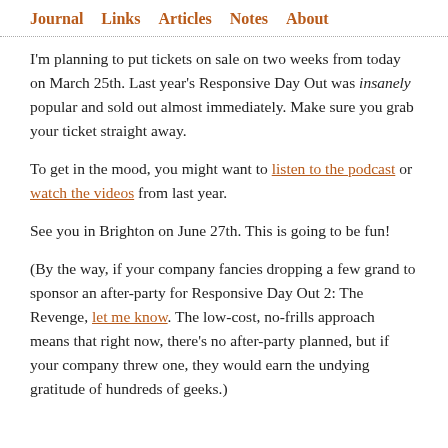Journal  Links  Articles  Notes  About
I'm planning to put tickets on sale on two weeks from today on March 25th. Last year's Responsive Day Out was insanely popular and sold out almost immediately. Make sure you grab your ticket straight away.
To get in the mood, you might want to listen to the podcast or watch the videos from last year.
See you in Brighton on June 27th. This is going to be fun!
(By the way, if your company fancies dropping a few grand to sponsor an after-party for Responsive Day Out 2: The Revenge, let me know. The low-cost, no-frills approach means that right now, there's no after-party planned, but if your company threw one, they would earn the undying gratitude of hundreds of geeks.)